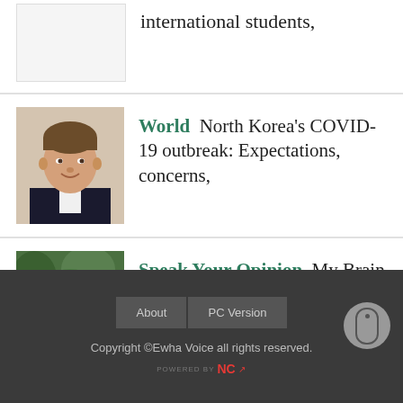international students,
[Figure (photo): Placeholder thumbnail image (first article)]
[Figure (photo): Headshot of young man in suit, smiling]
World  North Korea's COVID-19 outbreak: Expectations, concerns,
[Figure (photo): Portrait of young woman with dark hair outdoors with green foliage background]
Speak Your Opinion  My Brain Disliking Itself
About  PC Version
Copyright © Ewha Voice all rights reserved.
POWERED BY NC